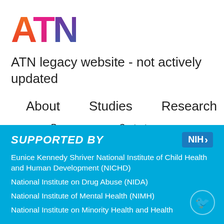[Figure (logo): ATN colorful logo with letters A (red-orange), T (pink-magenta), N (purple-blue)]
ATN legacy website - not actively updated
About    Studies    Research
Resources    Contact
SUPPORTED BY
Eunice Kennedy Shriver National Institute of Child Health and Human Development (NICHD)
National Institute on Drug Abuse (NIDA)
National Institute of Mental Health (NIMH)
National Institute on Minority Health and Health